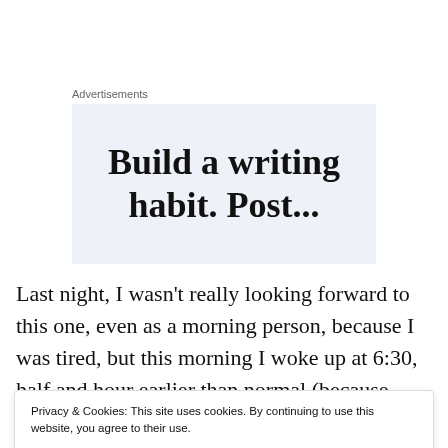Advertisements
[Figure (illustration): Advertisement banner with text 'Build a writing habit. Post...' on a light blue-grey background, partially cropped]
Last night, I wasn't really looking forward to this one, even as a morning person, because I was tired, but this morning I woke up at 6:30, half and hour earlier than normal (because Google told me sunrise would be at 7:09am)
Privacy & Cookies: This site uses cookies. By continuing to use this website, you agree to their use.
To find out more, including how to control cookies, see here: Cookie Policy
brightened and it was more evident that there was daylight